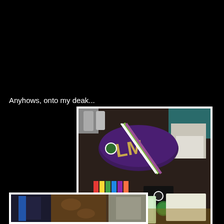Anyhows, onto my deak...
[Figure (photo): Photo of a desk with a purple Wimbledon bag/towel, a striped lanyard, colorful items, tickets and papers spread out on a patterned surface. Various other items visible in the background.]
[Figure (photo): Partial photo visible at bottom showing dark fabric/clothing items on a patterned surface.]